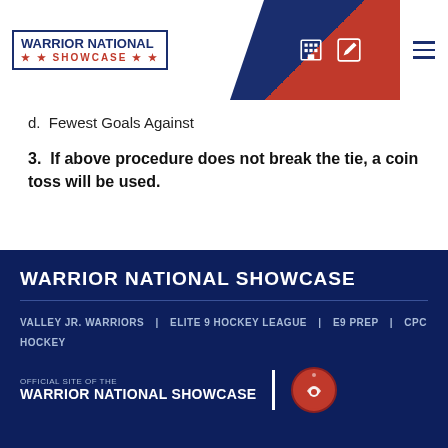WARRIOR NATIONAL SHOWCASE
d.  Fewest Goals Against
3.  If above procedure does not break the tie, a coin toss will be used.
WARRIOR NATIONAL SHOWCASE
VALLEY JR. WARRIORS | ELITE 9 HOCKEY LEAGUE | E9 PREP | CPC HOCKEY
OFFICIAL SITE OF THE WARRIOR NATIONAL SHOWCASE